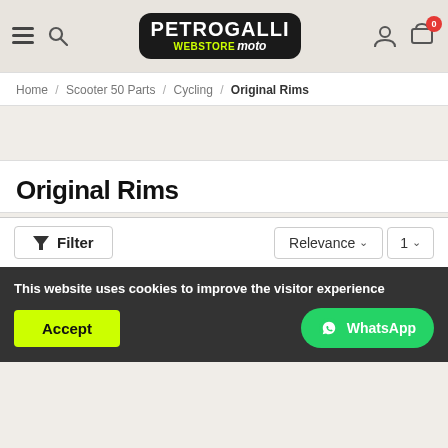Petrogalli Webstore Moto — header with logo, navigation icons, and cart
Home / Scooter 50 Parts / Cycling / Original Rims
Original Rims
Filter | Relevance ˅  1 ˅
This website uses cookies to improve the visitor experience
Accept
WhatsApp